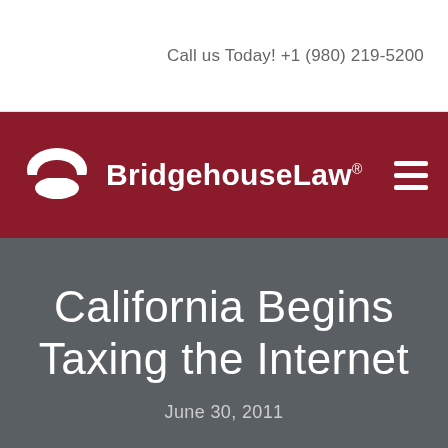Call us Today! +1 (980) 219-5200
[Figure (logo): BridgehouseLaw logo with white arch/bridge icon on dark red background, text 'BridgehouseLaw®' in white, hamburger menu icon on right]
California Begins Taxing the Internet
June 30, 2011